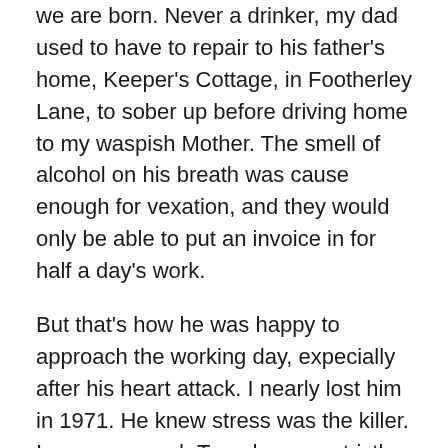we are born. Never a drinker, my dad used to have to repair to his father's home, Keeper's Cottage, in Footherley Lane, to sober up before driving home to my waspish Mother. The smell of alcohol on his breath was cause enough for vexation, and they would only be able to put an invoice in for half a day's work.
But that's how he was happy to approach the working day, expecially after his heart attack. I nearly lost him in 1971. He knew stress was the killer. In season, each Tuesday was strictly reserved for fly-fishing at Packington Lake in Warwickshire. And if his day undertaking regular maintenance work on the Avion in Aldridge included a lunchtime hiatus for a pool contest or an opportunity to record the changing face of Aldridge's road system, then I for one, don't blame him.
*Sometim...